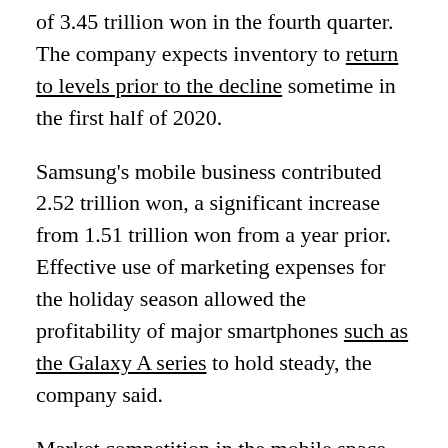of 3.45 trillion won in the fourth quarter. The company expects inventory to return to levels prior to the decline sometime in the first half of 2020.
Samsung's mobile business contributed 2.52 trillion won, a significant increase from 1.51 trillion won from a year prior. Effective use of marketing expenses for the holiday season allowed the profitability of major smartphones such as the Galaxy A series to hold steady, the company said.
Market competition in the mobile space will intensify in 2020 but the company said it would respond by expanding 5G adoption and launching new foldable products.
Its display panel business reported an operating